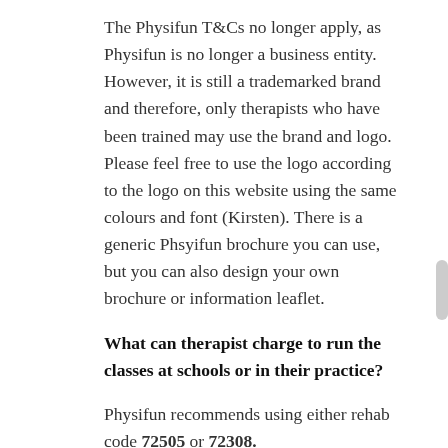The Physifun T&Cs no longer apply, as Physifun is no longer a business entity. However, it is still a trademarked brand and therefore, only therapists who have been trained may use the brand and logo. Please feel free to use the logo according to the logo on this website using the same colours and font (Kirsten). There is a generic Phsyifun brochure you can use, but you can also design your own brochure or information leaflet.
What can therapist charge to run the classes at schools or in their practice?
Physifun recommends using either rehab code 72505 or 72308.
Therapists need to decide which code to use according to the amount of children in a class and their hourly rate as a physiotherapist. (This is